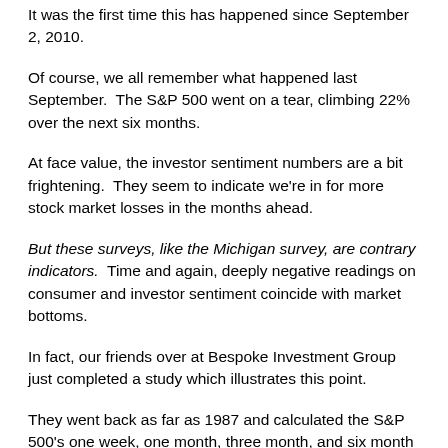It was the first time this has happened since September 2, 2010.
Of course, we all remember what happened last September.  The S&P 500 went on a tear, climbing 22% over the next six months.
At face value, the investor sentiment numbers are a bit frightening.  They seem to indicate we're in for more stock market losses in the months ahead.
But these surveys, like the Michigan survey, are contrary indicators.  Time and again, deeply negative readings on consumer and investor sentiment coincide with market bottoms.
In fact, our friends over at Bespoke Investment Group just completed a study which illustrates this point.
They went back as far as 1987 and calculated the S&P 500's one week, one month, three month, and six month returns following weeks where the bears outnumbered the bulls in the II and AAII polls.  Then, they compared those returns to the S&P 500's performance following periods when the bulls outnumbered the bears in each poll and when the two polls had mixed results.